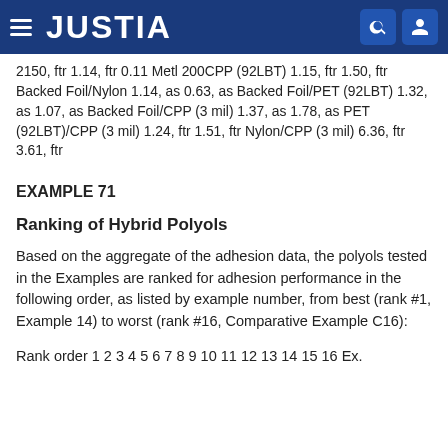JUSTIA
2150, ftr 1.14, ftr 0.11 Metl 200CPP (92LBT) 1.15, ftr 1.50, ftr Backed Foil/Nylon 1.14, as 0.63, as Backed Foil/PET (92LBT) 1.32, as 1.07, as Backed Foil/CPP (3 mil) 1.37, as 1.78, as PET (92LBT)/CPP (3 mil) 1.24, ftr 1.51, ftr Nylon/CPP (3 mil) 6.36, ftr 3.61, ftr
EXAMPLE 71
Ranking of Hybrid Polyols
Based on the aggregate of the adhesion data, the polyols tested in the Examples are ranked for adhesion performance in the following order, as listed by example number, from best (rank #1, Example 14) to worst (rank #16, Comparative Example C16):
Rank order 1 2 3 4 5 6 7 8 9 10 11 12 13 14 15 16 Ex.